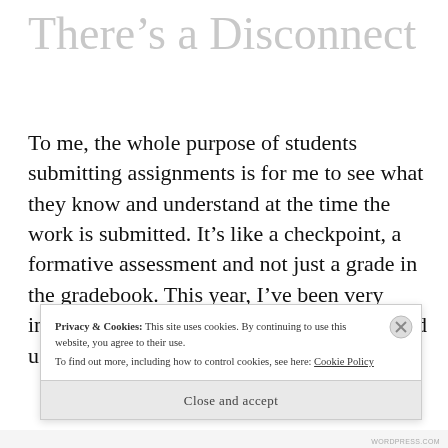There’s a Disconnect
To me, the whole purpose of students submitting assignments is for me to see what they know and understand at the time the work is submitted. It’s like a checkpoint, a formative assessment and not just a grade in the gradebook. This year, I’ve been very intentional about implementing tasks to build u
Privacy & Cookies: This site uses cookies. By continuing to use this website, you agree to their use. To find out more, including how to control cookies, see here: Cookie Policy
Close and accept